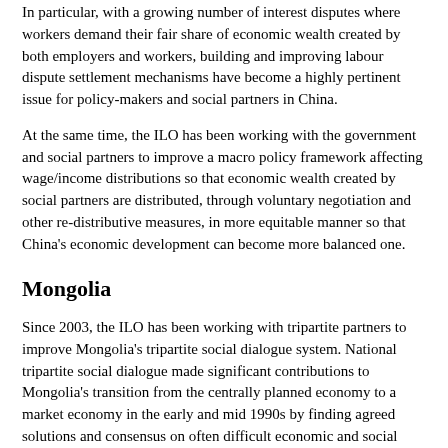In particular, with a growing number of interest disputes where workers demand their fair share of economic wealth created by both employers and workers, building and improving labour dispute settlement mechanisms have become a highly pertinent issue for policy-makers and social partners in China.
At the same time, the ILO has been working with the government and social partners to improve a macro policy framework affecting wage/income distributions so that economic wealth created by social partners are distributed, through voluntary negotiation and other re-distributive measures, in more equitable manner so that China's economic development can become more balanced one.
Mongolia
Since 2003, the ILO has been working with tripartite partners to improve Mongolia's tripartite social dialogue system. National tripartite social dialogue made significant contributions to Mongolia's transition from the centrally planned economy to a market economy in the early and mid 1990s by finding agreed solutions and consensus on often difficult economic and social challenges. Now tripartite partners and tripartite mechanisms need to be refined and improved to tackle challenges arising from the country's deeper integration into the global economy and from market-based employment relations.